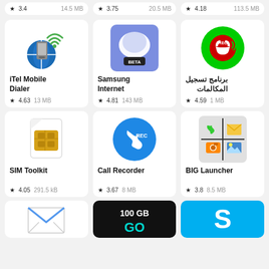★ 3.4   14.5 MB | ★ 3.75   20.5 MB | ★ 4.18   113.5 MB
[Figure (illustration): iTel Mobile Dialer app icon: mobile phone with wifi signal and globe]
iTel Mobile Dialer
★ 4.63   13 MB
[Figure (illustration): Samsung Internet app icon: blue background with white oval and BETA label]
Samsung Internet
★ 4.81   143 MB
[Figure (illustration): برنامج تسجيل المكالمات app icon: green circle with red phone and REC label]
برنامج تسجيل المكالمات
★ 4.59   1 MB
[Figure (illustration): SIM Toolkit app icon: white SIM card with gold chip]
SIM Toolkit
★ 4.05   291.5 kB
[Figure (illustration): Call Recorder app icon: blue circle with white phone and REC text]
Call Recorder
★ 3.67   8 MB
[Figure (illustration): BIG Launcher app icon: grid of four squares with phone, envelope, camera, and image icons]
BIG Launcher
★ 3.8   8.5 MB
[Figure (illustration): Bottom left: email/envelope icon app]
[Figure (illustration): Bottom center: 100 GB GO app dark background]
[Figure (illustration): Bottom right: Skype app blue background with S logo]